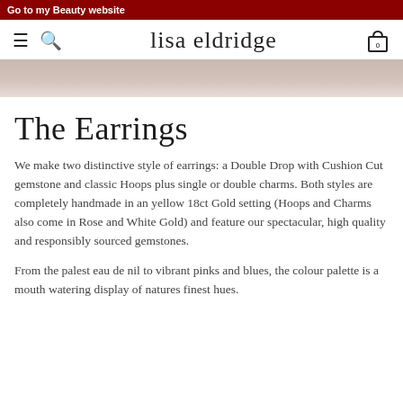Go to my Beauty website
lisa eldridge
[Figure (photo): Partial view of a person's head/hair, cropped at the top of the content area]
The Earrings
We make two distinctive style of earrings: a Double Drop with Cushion Cut gemstone and classic Hoops plus single or double charms. Both styles are completely handmade in an yellow 18ct Gold setting (Hoops and Charms also come in Rose and White Gold) and feature our spectacular, high quality and responsibly sourced gemstones.
From the palest eau de nil to vibrant pinks and blues, the colour palette is a mouth watering display of natures finest hues.